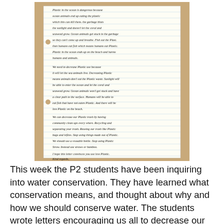[Figure (photo): A photograph of a handwritten student letter on lined notebook paper. The letter discusses plastic in the ocean being dangerous, the need to decrease plastic use, ways to decrease plastic trash, and ends with 'I hope this letter convinces you use less plastic. Kind regards, Avon.']
This week the P2 students have been inquiring into water conservation. They have learned what conservation means, and thought about why and how we should conserve water. The students wrote letters encouraging us all to decrease our use of water, and what some ways to do so are...